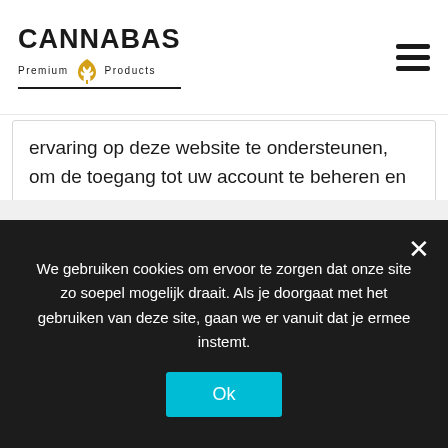[Figure (logo): Cannabas Premium Products logo with cannabis leaf icon and underline]
ervaring op deze website te ondersteunen, om de toegang tot uw account te beheren en voor andere doeleinden die in onze worden beschreven privacy policy .
REGISTER
We gebruiken cookies om ervoor te zorgen dat onze site zo soepel mogelijk draait. Als je doorgaat met het gebruiken van deze site, gaan we er vanuit dat je ermee instemt.
Ok